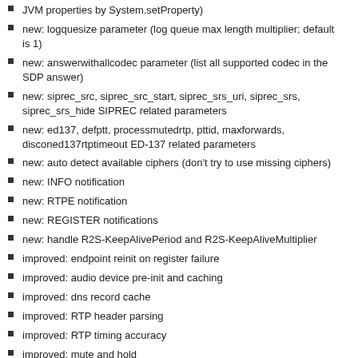JVM properties by System.setProperty)
new: logquesize parameter (log queue max length multiplier; default is 1)
new: answerwithallcodec parameter (list all supported codec in the SDP answer)
new: siprec_src, siprec_src_start, siprec_srs_uri, siprec_srs, siprec_srs_hide SIPREC related parameters
new: ed137, defptt, processmutedrtp, pttid, maxforwards, disconed137rtptimeout ED-137 related parameters
new: auto detect available ciphers (don't try to use missing ciphers)
new: INFO notification
new: RTPE notification
new: REGISTER notifications
new: handle R2S-KeepAlivePeriod and R2S-KeepAliveMultiplier
improved: endpoint reinit on register failure
improved: audio device pre-init and caching
improved: dns record cache
improved: RTP header parsing
improved: RTP timing accuracy
improved: mute and hold
improved: operation with no audio device (streaming only)
improved: headless mode